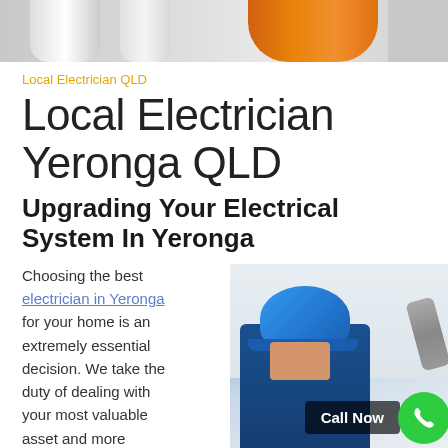[Figure (photo): Header image showing electrical cables and wires — orange coiled cable and white wires on grey background]
Local Electrician QLD
Local Electrician Yeronga QLD
Upgrading Your Electrical System In Yeronga
Choosing the best electrician in Yeronga for your home is an extremely essential decision. We take the duty of dealing with your most valuable asset and more
[Figure (photo): Photo of electrician wearing blue hard hat working on ceiling electrical fixture]